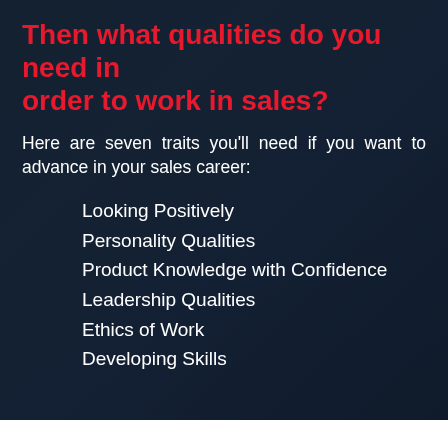Then what qualities do you need in order to work in sales?
Here are seven traits you'll need if you want to advance in your sales career:
Looking Positively
Personality Qualities
Product Knowledge with Confidence
Leadership Qualities
Ethics of Work
Developing Skills